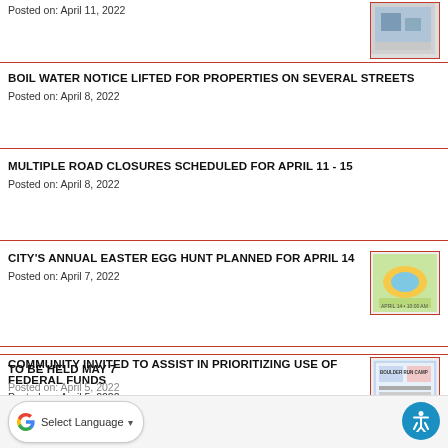Posted on: April 11, 2022
BOIL WATER NOTICE LIFTED FOR PROPERTIES ON SEVERAL STREETS
Posted on: April 8, 2022
MULTIPLE ROAD CLOSURES SCHEDULED FOR APRIL 11 - 15
Posted on: April 8, 2022
CITY'S ANNUAL EASTER EGG HUNT PLANNED FOR APRIL 14
Posted on: April 7, 2022
COMMUNITY INVITED TO ASSIST IN PRIORITIZING USE OF FEDERAL FUNDS
Posted on: April 5, 2022
TO BE HELD MAY 7
Posted on: April 5, 2022